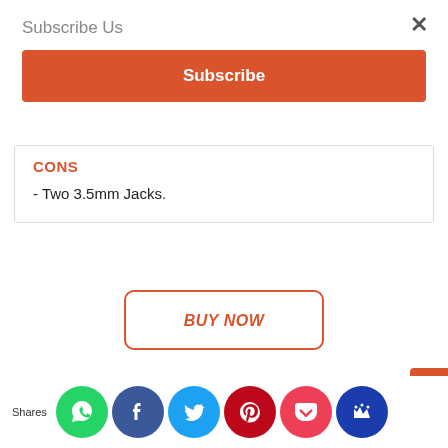Subscribe Us
Subscribe
CONS
- Two 3.5mm Jacks.
BUY NOW
Today, we are talking about an over-ear headphone that comes with an endless list of features and that too at a reasonable price. These are iBall Rocky Headset. These over-ear headphones have been designed with comfort in mind and deliver exceptionally good sound quality. Le...ck o...detail...
Shares